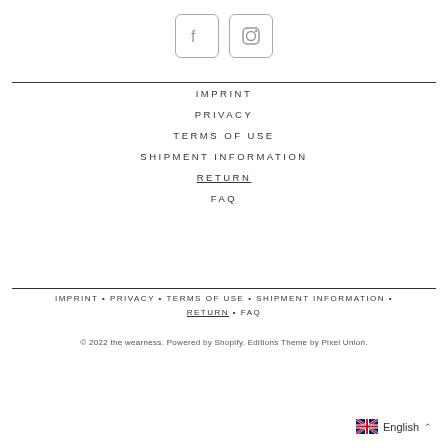[Figure (illustration): Facebook and Instagram social media icon buttons with outlined square/rounded borders]
IMPRINT
PRIVACY
TERMS OF USE
SHIPMENT INFORMATION
RETURN
FAQ
IMPRINT • PRIVACY • TERMS OF USE • SHIPMENT INFORMATION • RETURN • FAQ
© 2022 the wearness. Powered by Shopify. Editions Theme by Pixel Union.
English